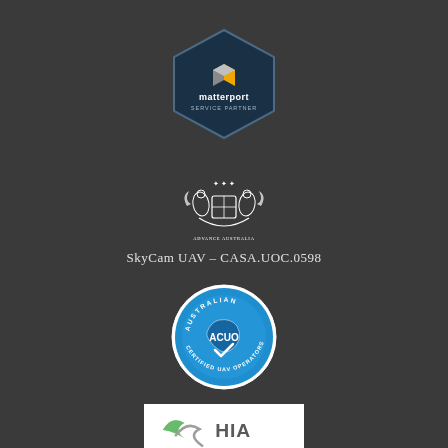[Figure (logo): Matterport Service Partner hexagonal badge logo with dark navy background, grey and yellow cube icon, and text 'matterport SERVICE PARTNER']
[Figure (logo): Australian Government / CASA coat of arms emblem in white on dark background]
SkyCam UAV – CASA.UOC.0598
[Figure (logo): ACUO Australian Certified UAV Operators circular badge with blue background, Australia map outline, and text 'AUSTRALIAN ACUO CERTIFIED UAV OPERATORS']
[Figure (logo): HIA logo on white background with green and grey swoosh graphic and 'HIA' text]